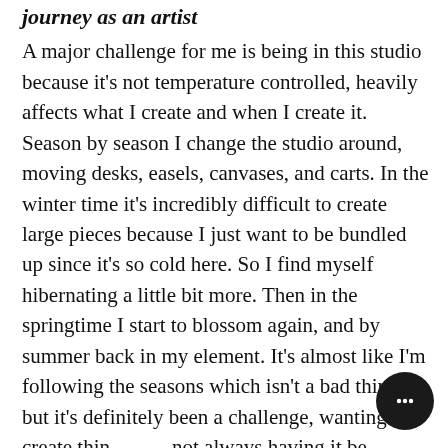journey as an artist
A major challenge for me is being in this studio because it's not temperature controlled, heavily affects what I create and when I create it. Season by season I change the studio around, moving desks, easels, canvases, and carts. In the winter time it's incredibly difficult to create large pieces because I just want to be bundled up since it's so cold here. So I find myself hibernating a little bit more. Then in the springtime I start to blossom again, and by summer back in my element. It's almost like I'm following the seasons which isn't a bad thing – but it's definitely been a challenge, wanting to create things not always having it be feasible at